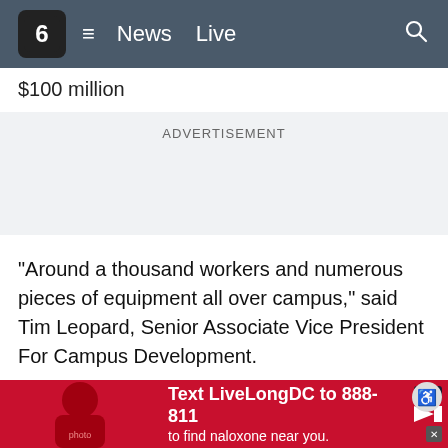6 News Live
$100 million
ADVERTISEMENT
“Around a thousand workers and numerous pieces of equipment all over campus,” said Tim Leopard, Senior Associate Vice President For Campus Development.
The biggest one of all, of course, is the new Tutwiler Dorm. That project alone is $145 million. Construction crews are in the final stages getting it ready to open by the start of the fall term.
A few s… front of Russell Hall is torn up and will be for a few more weeks
[Figure (screenshot): Bottom advertisement banner: Text LiveLongDC to 888-811 to find naloxone near you.]